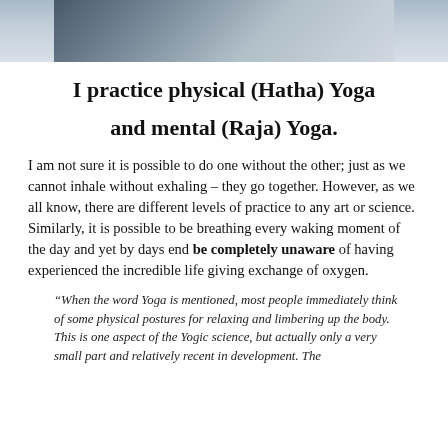[Figure (photo): Partial photo strip at top of page, showing a blurred or cropped image with blue/grey tones]
I practice physical (Hatha) Yoga and mental (Raja) Yoga.
I am not sure it is possible to do one without the other; just as we cannot inhale without exhaling – they go together. However, as we all know, there are different levels of practice to any art or science. Similarly, it is possible to be breathing every waking moment of the day and yet by days end be completely unaware of having experienced the incredible life giving exchange of oxygen.
“When the word Yoga is mentioned, most people immediately think of some physical postures for relaxing and limbering up the body. This is one aspect of the Yogic science, but actually only a very small part and relatively recent in development. The